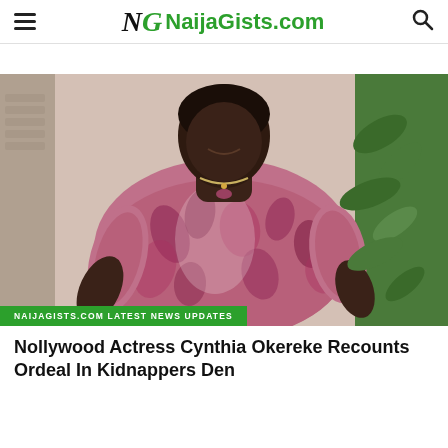NaijaGists.com
[Figure (photo): A woman wearing a pink and white paisley-patterned dress, standing outdoors near a wall and green plants. She is smiling. Caption label reads 'NAIJAGISTS.COM LATEST NEWS UPDATES'.]
Nollywood Actress Cynthia Okereke Recounts Ordeal In Kidnappers Den